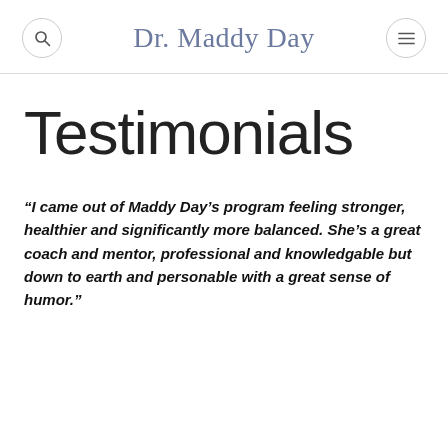Dr. Maddy Day
Testimonials
“I came out of Maddy Day’s program feeling stronger, healthier and significantly more balanced. She’s a great coach and mentor, professional and knowledgable but down to earth and personable with a great sense of humor.”